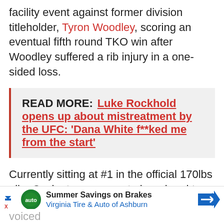facility event against former division titleholder, Tyron Woodley, scoring an eventual fifth round TKO win after Woodley suffered a rib injury in a one-sided loss.
READ MORE: Luke Rockhold opens up about mistreatment by the UFC: 'Dana White f**ked me from the start'
Currently sitting at #1 in the official 170lbs pile, Covington appears to be primed to meet with the Auchi dominator, Usman in a championship rematch next, however, according to Usman's manager, Dominance MMA leader, Ali Abdelaziz, Usman has voiced ... #6 ranke...